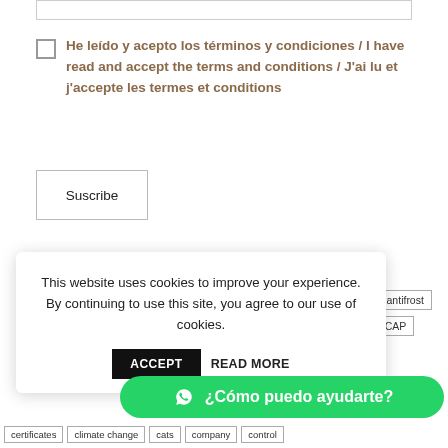He leído y acepto los términos y condiciones / I have read and accept the terms and conditions / J'ai lu et j'accepte les termes et conditions
Suscribe
This website uses cookies to improve your experience. By continuing to use this site, you agree to our use of cookies. ACCEPT READ MORE
¿Cómo puedo ayudarte?